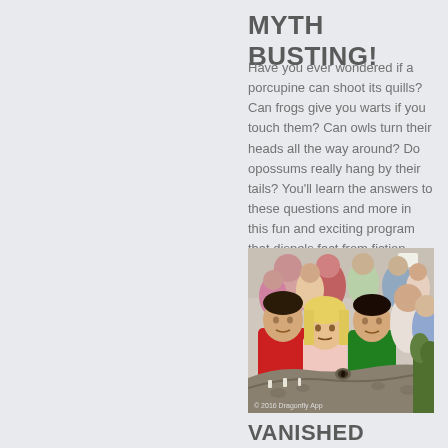MYTH BUSTING!
Have you ever wondered if a porcupine can shoot its quills? Can frogs give you warts if you touch them? Can owls turn their heads all the way around? Do opossums really hang by their tails? You'll learn the answers to these questions and more in this fun and exciting program that dispels fact from fiction.
[Figure (photo): Children gathered around a large alligator or crocodile at what appears to be an educational event or zoo presentation. A boy in a red shirt and a girl with blonde hair are prominently in the foreground, looking at the reptile. Photo credit: © 2016 Dragonfly App]
VANISHED